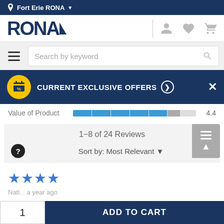Fort Erie RONA
[Figure (logo): RONA logo in dark blue with triangle accent]
Search by keyword
CURRENT EXCLUSIVE OFFERS
Value of Product 4.4
1−8 of 24 Reviews
Sort by: Most Relevant
★★★★
Natl... a year ago
1
ADD TO CART